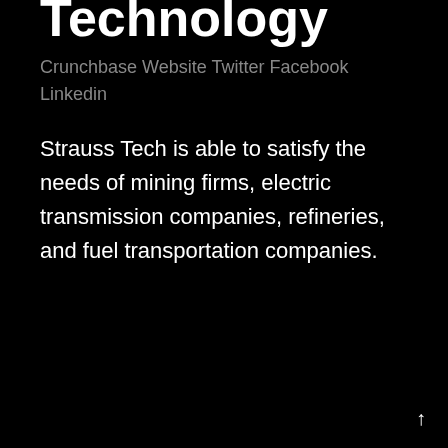Technology
Crunchbase Website Twitter Facebook Linkedin
Strauss Tech is able to satisfy the needs of mining firms, electric transmission companies, refineries, and fuel transportation companies.